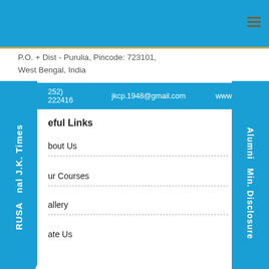P.O. + Dist - Purulia, Pincode: 723101, West Bengal, India
(0)3252) 222416   jkcp.1948@gmail.com   www.jkcprl.ac.in
Useful Links
About Us
Our Courses
Gallery
Locate Us